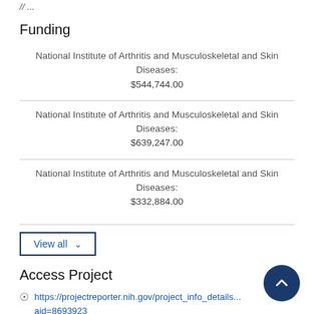//...
Funding
National Institute of Arthritis and Musculoskeletal and Skin Diseases:
$544,744.00
National Institute of Arthritis and Musculoskeletal and Skin Diseases:
$639,247.00
National Institute of Arthritis and Musculoskeletal and Skin Diseases:
$332,884.00
View all
Access Project
https://projectreporter.nih.gov/project_info_details...aid=8693923